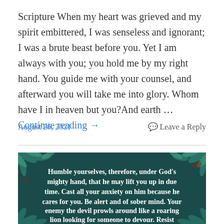Scripture When my heart was grieved and my spirit embittered, I was senseless and ignorant; I was a brute beast before you. Yet I am always with you; you hold me by my right hand. You guide me with your counsel, and afterward you will take me into glory. Whom have I in heaven but you?And earth … Continue reading →
August 26, 2021
Leave a Reply
[Figure (illustration): Dark teal background with botanical/floral border elements (pine/tropical leaves). White serif text reads: 'Humble yourselves, therefore, under God's mighty hand, that he may lift you up in due time. Cast all your anxiety on him because he cares for you. Be alert and of sober mind. Your enemy the devil prowls around like a roaring lion looking for someone to devour. Resist']